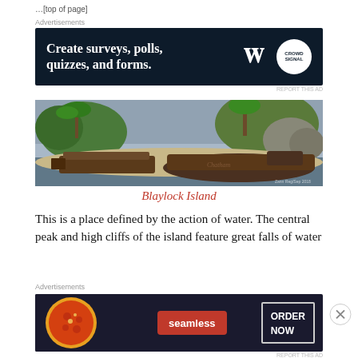…[partial page header/navigation]
Advertisements
[Figure (screenshot): Advertisement banner: dark navy background with white bold text 'Create surveys, polls, quizzes, and forms.' with WordPress logo and a circular logo on the right.]
REPORT THIS AD
[Figure (photo): Landscape image of Blaylock Island showing a tropical/coastal scene with boats docked at a shoreline, palm trees, rocks, and lush greenery. Appears to be a virtual/game world environment.]
Blaylock Island
This is a place defined by the action of water. The central peak and high cliffs of the island feature great falls of water that tumble into bays and channels that
Advertisements
[Figure (screenshot): Advertisement banner: dark background with pizza image on left, Seamless red logo in center, 'ORDER NOW' button on right.]
REPORT THIS AD